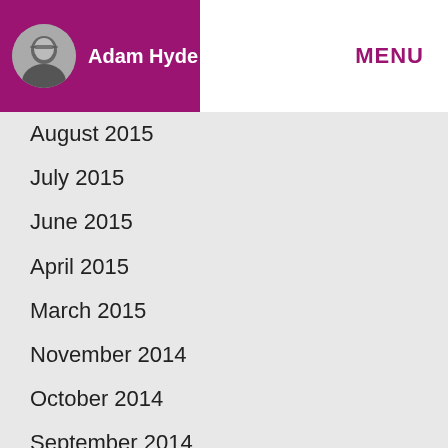Adam Hyde  MENU
August 2015
July 2015
June 2015
April 2015
March 2015
November 2014
October 2014
September 2014
February 2013
January 2013
December 2012
November 2012
October 2012